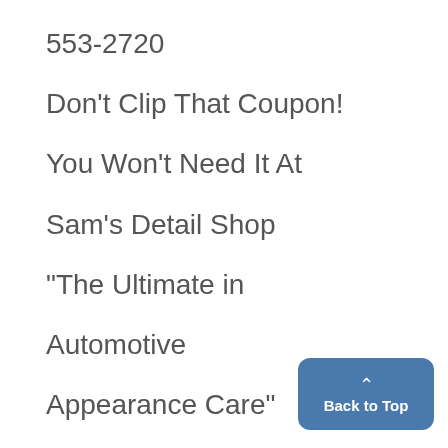553-2720
Don't Clip That Coupon!
You Won't Need It At
Sam's Detail Shop
"The Ultimate in
Automotive
Appearance Care"
Back to Top